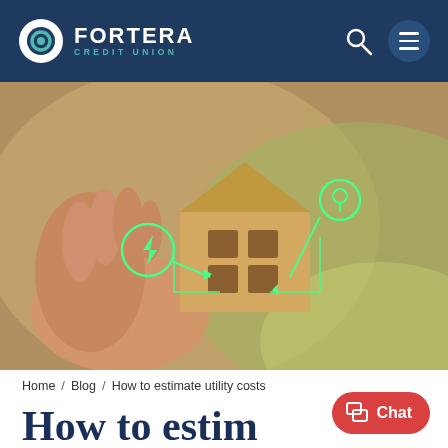[Figure (logo): Fortera Credit Union logo with teal circular icon and white text on dark navy background, with search and hamburger menu icons]
[Figure (photo): A hand holding a miniature wooden house model with green energy/smart home icons overlaid (lightning bolt, location pin), with bokeh background of greenery]
Home / Blog / How to estimate utility costs
How to estimate utility costs